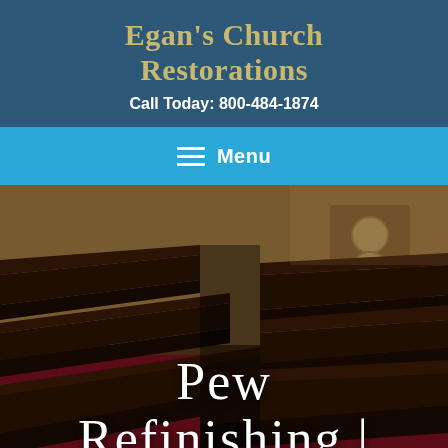Egan's Church Restorations
Call Today: 800-484-1874
Menu
[Figure (photo): Interior of a church showing rows of dark wooden pews with red cushions, viewed from an angle. The pews are arranged in rows and there is a decorative element visible in the background on the wall.]
Pew Refinishing